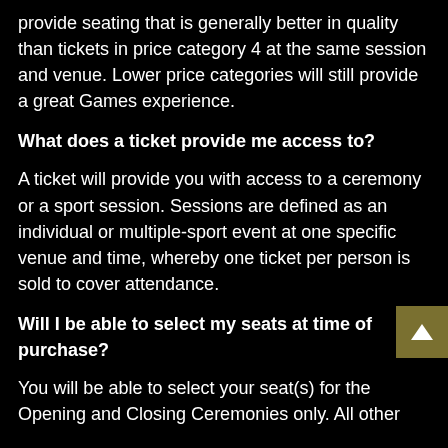provide seating that is generally better in quality than tickets in price category 4 at the same session and venue. Lower price categories will still provide a great Games experience.
What does a ticket provide me access to?
A ticket will provide you with access to a ceremony or a sport session. Sessions are defined as an individual or multiple-sport event at one specific venue and time, whereby one ticket per person is sold to cover attendance.
Will I be able to select my seats at time of purchase?
You will be able to select your seat(s) for the Opening and Closing Ceremonies only. All other